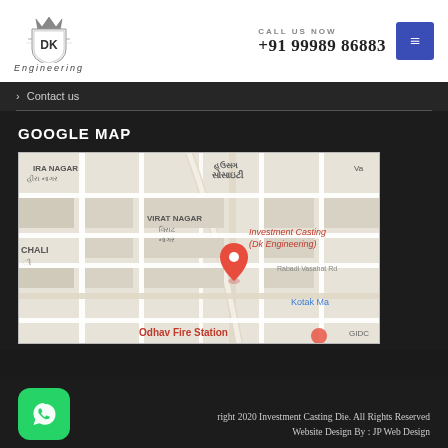[Figure (logo): DK Engineering shield logo with crown]
CALL US NOW
+91 99989 86883
> Contact us
GOOGLE MAP
[Figure (map): Google Map showing Investment Casting (Dk Engineering) location near Virat Nagar, Odhav Fire Station, Rabadi Vasahat Rd, Kotak Ma. Neighborhoods shown: Hira Nagar, Hali, Housing Society. Labels in Gujarati and English.]
right 2020 Investment Casting Die. All Rights Reserved
Website Design By : JP Web Design